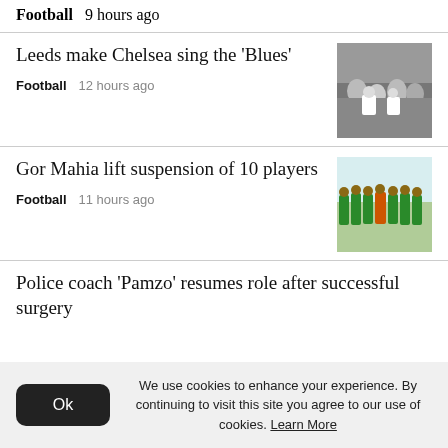Football   9 hours ago
Leeds make Chelsea sing the 'Blues'
Football   12 hours ago
Gor Mahia lift suspension of 10 players
Football   11 hours ago
Police coach 'Pamzo' resumes role after successful surgery
We use cookies to enhance your experience. By continuing to visit this site you agree to our use of cookies. Learn More